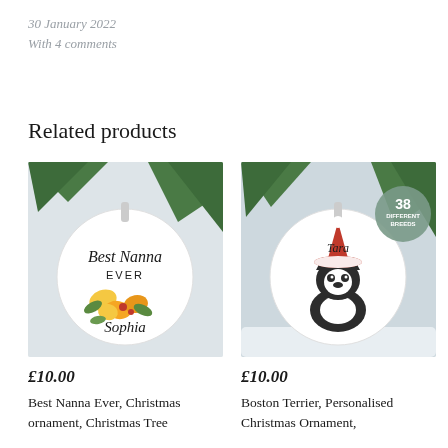30 January 2022
With 4 comments
Related products
[Figure (photo): Christmas ceramic ornament with floral design reading 'Best Nanna EVER Sophia']
£10.00
Best Nanna Ever, Christmas ornament, Christmas Tree
[Figure (photo): Christmas ceramic ornament featuring a Boston Terrier dog with a Santa hat and snowy forest scene, badge reading '38 DIFFERENT BREEDS']
£10.00
Boston Terrier, Personalised Christmas Ornament,